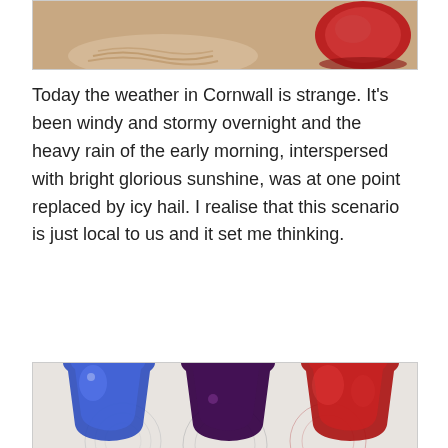[Figure (photo): Partial view of what appears to be a decorative woven or ceramic object on the left and a red glass/ceramic object on the right, cropped at top]
Today the weather in Cornwall is strange. It’s been windy and stormy overnight and the heavy rain of the early morning, interspersed with bright glorious sunshine, was at one point replaced by icy hail. I realise that this scenario is just local to us and it set me thinking.
[Figure (photo): Three coloured glass tumblers — blue on left, dark purple/violet in centre, red/crimson on right — sitting on a textured white surface, photographed close up]